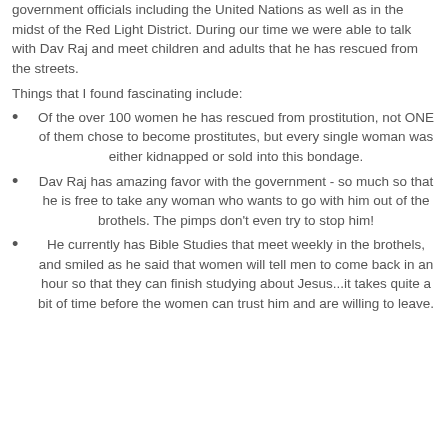government officials including the United Nations as well as in the midst of the Red Light District. During our time we were able to talk with Dav Raj and meet children and adults that he has rescued from the streets.
Things that I found fascinating include:
Of the over 100 women he has rescued from prostitution, not ONE of them chose to become prostitutes, but every single woman was either kidnapped or sold into this bondage.
Dav Raj has amazing favor with the government - so much so that he is free to take any woman who wants to go with him out of the brothels. The pimps don't even try to stop him!
He currently has Bible Studies that meet weekly in the brothels, and smiled as he said that women will tell men to come back in an hour so that they can finish studying about Jesus...it takes quite a bit of time before the women can trust him and are willing to leave.
He also has their mission to children and...